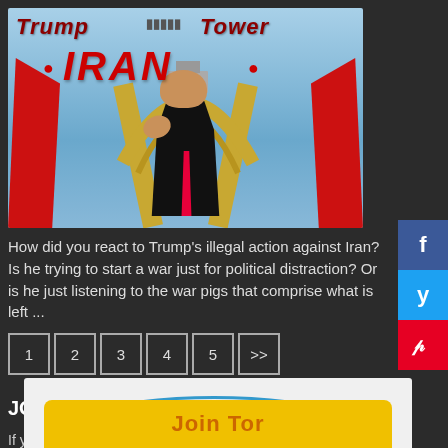[Figure (illustration): Meme image showing Trump Tower Iran — a satirical political image with text 'Trump Tower IRAN' overlaid on what appears to be the Azadi Tower in Tehran, with a figure in a dark suit and red tie]
How did you react to Trump's illegal action against Iran? Is he trying to start a war just for political distraction? Or is he just listening to the war pigs that comprise what is left ...
JOIN THIS RESISTANCE!
If you like and support this kind of progressive content then please become a member and be counted.
[Figure (illustration): Partial bottom banner — yellow and white colored banner, partially visible]